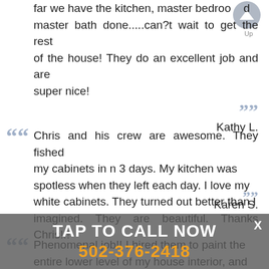far we have the kitchen, master bedroom, and master bath done.....can?t wait to get the rest of the house! They do an excellent job and are super nice!
Kathy L.
Chris and his crew are awesome. They fished my cabinets in n 3 days. My kitchen was spotless when they left each day. I love my white cabinets. They turned out better than I imagined. They are beautiful. Thanks Chris!!!
Karen S.
TAP TO CALL NOW 502-376-2418
Phenomenal job!! I hired them to paint the entire lower level of my house interior, and